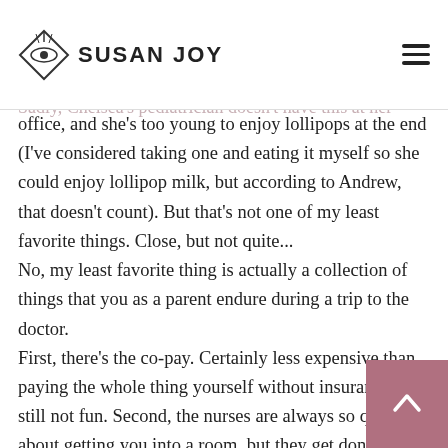SUSAN JOY
around the ceiling of the entire office. It was almost like Go-Go, not only puppets (sorry if I burst your bubble, but most of those characters aren't real). Sadly, Chelsea's pediatrician doesn't have this at her
office, and she's too young to enjoy lollipops at the end (I've considered taking one and eating it myself so she could enjoy lollipop milk, but according to Andrew, that doesn't count). But that's not one of my least favorite things. Close, but not quite... No, my least favorite thing is actually a collection of things that you as a parent endure during a trip to the doctor. First, there's the co-pay. Certainly less expensive than paying the whole thing yourself without insurance, but still not fun. Second, the nurses are always so quick about getting you into a room, but they get done so quickly that then (thirdly) you're left to wait for up to 45 minutes for your doc, all the while your child is